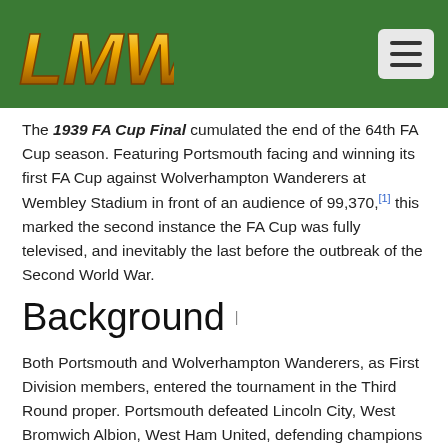[Figure (logo): LMW logo in gold/orange lettering on green header background]
The 1939 FA Cup Final cumulated the end of the 64th FA Cup season. Featuring Portsmouth facing and winning its first FA Cup against Wolverhampton Wanderers at Wembley Stadium in front of an audience of 99,370,[1] this marked the second instance the FA Cup was fully televised, and inevitably the last before the outbreak of the Second World War.
Background
Both Portsmouth and Wolverhampton Wanderers, as First Division members, entered the tournament in the Third Round proper. Portsmouth defeated Lincoln City, West Bromwich Albion, West Ham United, defending champions Preston North End, and